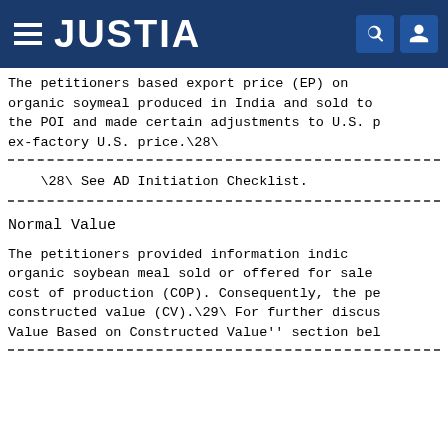JUSTIA
The petitioners based export price (EP) on organic soymeal produced in India and sold to the POI and made certain adjustments to U.S. p... ex-factory U.S. price.\28\
\28\ See AD Initiation Checklist.
Normal Value
The petitioners provided information indic... organic soybean meal sold or offered for sale cost of production (COP). Consequently, the pe... constructed value (CV).\29\ For further discus... Value Based on Constructed Value'' section bel...